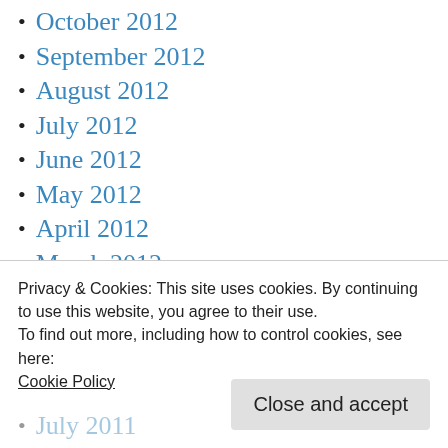October 2012
September 2012
August 2012
July 2012
June 2012
May 2012
April 2012
March 2012
February 2012
January 2012
December 2011
July 2011
Privacy & Cookies: This site uses cookies. By continuing to use this website, you agree to their use.
To find out more, including how to control cookies, see here:
Cookie Policy
Close and accept